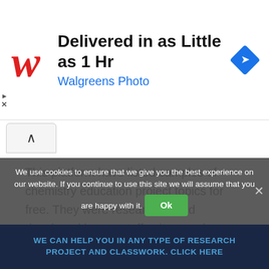[Figure (screenshot): Walgreens Photo advertisement banner with red cursive W logo, text 'Delivered in as Little as 1 Hr' and 'Walgreens Photo' in blue, and blue diamond navigation icon on the right]
This platform have listed samples of chemistry education project topics for free. They were researched and developed by our staff writers and are available to download in pdf and doc formats. Each listed project topic above is worth being developed into your Undergraduate, Masters or PhD thesis in public administration or can be used as a source of inspiration to come up with your own related idea
[Figure (screenshot): Green WhatsApp chat button overlay: 'Chat With Us On Whatsapp']
We use cookies to ensure that we give you the best experience on our website. If you continue to use this site we will assume that you are happy with it.
WE CAN HELP YOU IN ANY TYPE OF RESEARCH PROJECT AND CLASSWORK. CLICK HERE